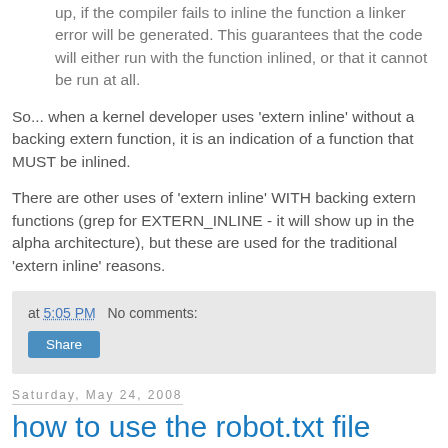up, if the compiler fails to inline the function a linker error will be generated. This guarantees that the code will either run with the function inlined, or that it cannot be run at all.
So... when a kernel developer uses 'extern inline' without a backing extern function, it is an indication of a function that MUST be inlined.
There are other uses of 'extern inline' WITH backing extern functions (grep for EXTERN_INLINE - it will show up in the alpha architecture), but these are used for the traditional 'extern inline' reasons.
at 5:05 PM   No comments:
Saturday, May 24, 2008
how to use the robot.txt file